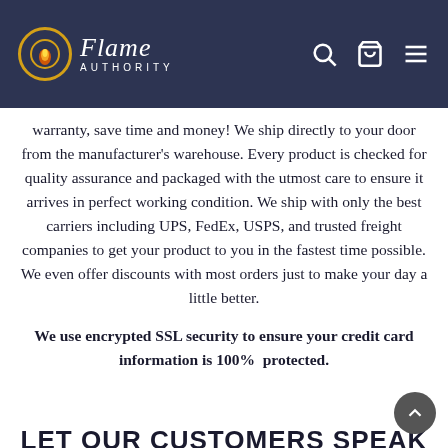Flame Authority
warranty, save time and money! We ship directly to your door from the manufacturer's warehouse. Every product is checked for quality assurance and packaged with the utmost care to ensure it arrives in perfect working condition. We ship with only the best carriers including UPS, FedEx, USPS, and trusted freight companies to get your product to you in the fastest time possible. We even offer discounts with most orders just to make your day a little better.
We use encrypted SSL security to ensure your credit card information is 100% protected.
LET OUR CUSTOMERS SPEAK FOR US...
[Figure (other): Five gold star rating icons partially visible at bottom]